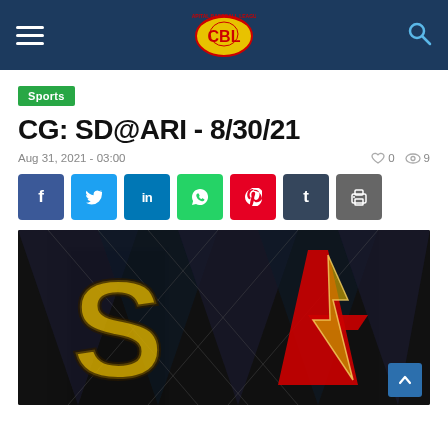Navigation header with logo and search
Sports
CG: SD@ARI - 8/30/21
Aug 31, 2021 - 03:00   0   9
[Figure (other): Social media share buttons: Facebook, Twitter, LinkedIn, WhatsApp, Pinterest, Tumblr, Print]
[Figure (photo): Baseball team logos for San Diego Padres (SD) and Arizona Diamondbacks (ARI) on a dark geometric background with triangular patterns]